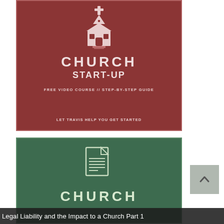[Figure (illustration): Red/maroon card with church building icon, bold text 'CHURCH START-UP', subtitle 'FREE VIDEO COURSE // STEP-BY-STEP GUIDE', and tagline 'LET TRAVIS HELP YOU GET STARTED']
[Figure (illustration): Green card with document/file icon and bold text 'CHURCH' at bottom, partially visible]
Legal Liability and the Impact to a Church Part 1